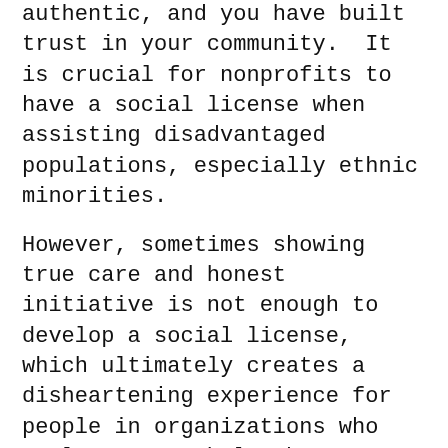authentic, and you have built trust in your community.  It is crucial for nonprofits to have a social license when assisting disadvantaged populations, especially ethnic minorities.
However, sometimes showing true care and honest initiative is not enough to develop a social license, which ultimately creates a disheartening experience for people in organizations who truly want to help, but are not validated by the community they want to serve. On the contrary, it helps ward off people who just want to look or feel good about themselves, by exploiting communities they have no right to intimately interact with.
One may ask what are the pros and cons with the social license model? A social license model acts as an important check and balance system for people in a given organization, but can also hinder its'